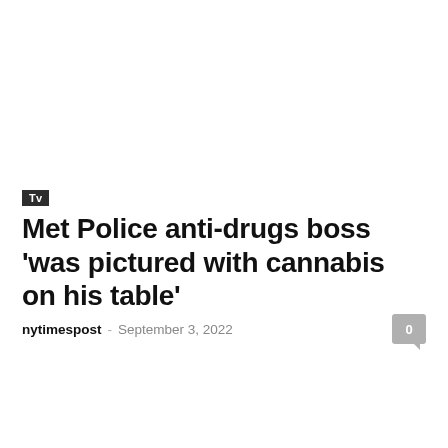Tv
Met Police anti-drugs boss 'was pictured with cannabis on his table'
nytimespost  -  September 3, 2022